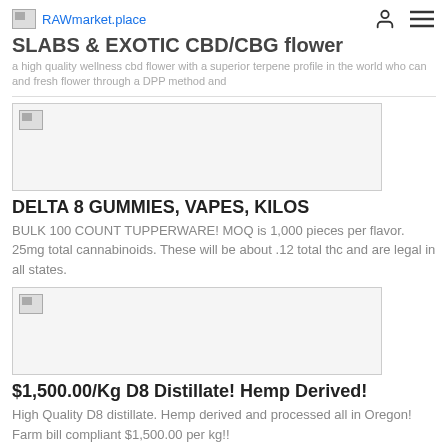RAWmarket.place
SLABS EXOTIC CBD/CBG flower
a high quality wellness cbd flower with a superior terpene profile in the world who can and fresh flower through a DPP method and
[Figure (photo): Product image placeholder with broken image icon]
DELTA 8 GUMMIES, VAPES, KILOS
BULK 100 COUNT TUPPERWARE! MOQ is 1,000 pieces per flavor. 25mg total cannabinoids. These will be about .12 total thc and are legal in all states.
[Figure (photo): Product image placeholder with broken image icon]
$1,500.00/Kg D8 Distillate! Hemp Derived!
High Quality D8 distillate. Hemp derived and processed all in Oregon! Farm bill compliant $1,500.00 per kg!!
Recent Forum Topics